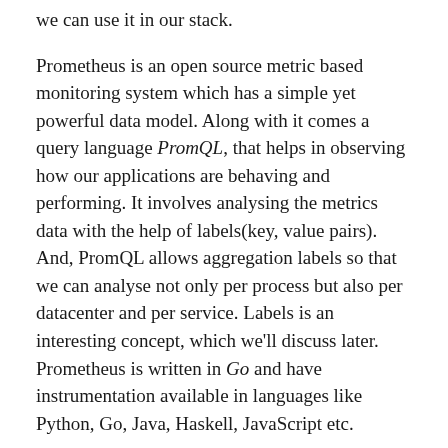we can use it in our stack.
Prometheus is an open source metric based monitoring system which has a simple yet powerful data model. Along with it comes a query language PromQL, that helps in observing how our applications are behaving and performing. It involves analysing the metrics data with the help of labels(key, value pairs). And, PromQL allows aggregation labels so that we can analyse not only per process but also per datacenter and per service. Labels is an interesting concept, which we'll discuss later. Prometheus is written in Go and have instrumentation available in languages like Python, Go, Java, Haskell, JavaScript etc.
Let's throw some more light on Monitoring and it's various aspects. If I were to disintegrate monitoring, it would be basically into four major things: Alerting, Debugging, Trending and Installing. And to explain more,